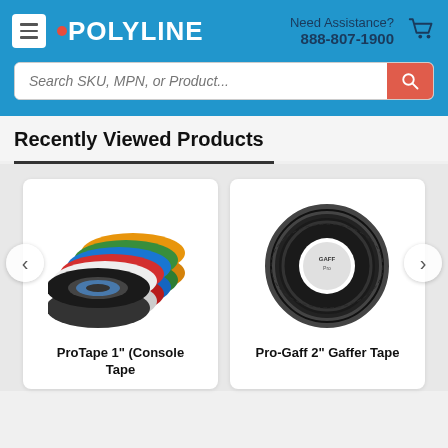[Figure (screenshot): Polyline website header with hamburger menu icon, Polyline logo with red dot, Need Assistance text, phone number 888-807-1900, and shopping cart icon on blue background]
[Figure (screenshot): Search bar with placeholder text 'Search SKU, MPN, or Product...' and red search button on blue background]
Recently Viewed Products
[Figure (photo): Multiple rolls of colored tape stacked together (black, white, red, blue, green, orange) - ProTape 1 inch Console Tape]
[Figure (photo): Single roll of black gaffer tape - Pro-Gaff 2 inch Gaffer Tape]
ProTape 1" (Console Tape)
Pro-Gaff 2" Gaffer Tape